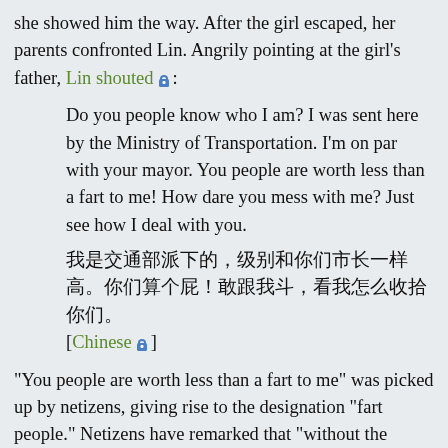she showed him the way. After the girl escaped, her parents confronted Lin. Angrily pointing at the girl's father, Lin shouted🔒:
Do you people know who I am? I was sent here by the Ministry of Transportation. I'm on par with your mayor. You people are worth less than a fart to me! How dare you mess with me? Just see how I deal with you.
我是交通部派下的，级别和你们市长一样高。你们算个屁！敢跟我斗，看我怎么收拾你们。[Chinese🔒]
"You people are worth less than a fart to me" was picked up by netizens, giving rise to the designation "fart people." Netizens have remarked that "without the ability to vote, we matter less than a fart" (没有选票, 我们就是个P!).